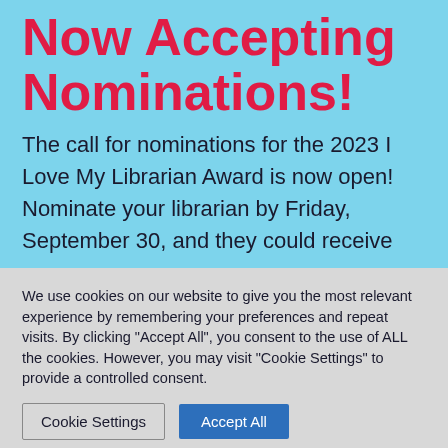Now Accepting Nominations!
The call for nominations for the 2023 I Love My Librarian Award is now open! Nominate your librarian by Friday, September 30, and they could receive
We use cookies on our website to give you the most relevant experience by remembering your preferences and repeat visits. By clicking "Accept All", you consent to the use of ALL the cookies. However, you may visit "Cookie Settings" to provide a controlled consent.